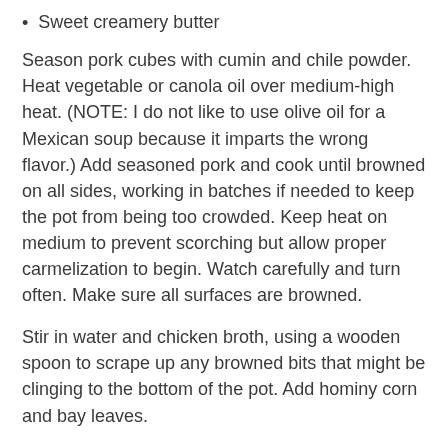Sweet creamery butter
Season pork cubes with cumin and chile powder. Heat vegetable or canola oil over medium-high heat. (NOTE: I do not like to use olive oil for a Mexican soup because it imparts the wrong flavor.) Add seasoned pork and cook until browned on all sides, working in batches if needed to keep the pot from being too crowded. Keep heat on medium to prevent scorching but allow proper carmelization to begin. Watch carefully and turn often. Make sure all surfaces are browned.
Stir in water and chicken broth, using a wooden spoon to scrape up any browned bits that might be clinging to the bottom of the pot. Add hominy corn and bay leaves.
Bring the soup to a boil, and then reduce heat to low and let simmer, uncovered, until pork is very tender, about 1 1/2 hours. Just before serving, stir in salsa Roja and simmer for 10-15 minutes to heat through. Taste and adjust seasoning as needed.
Once the Posole is ready, set out an array of small dishes